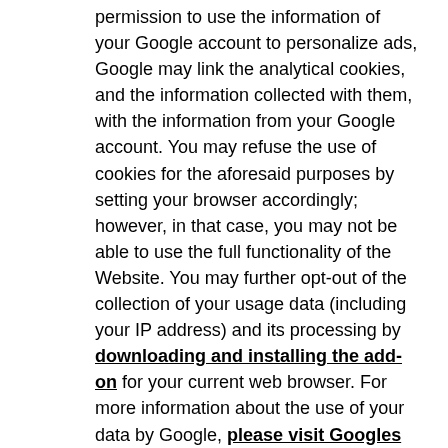permission to use the information of your Google account to personalize ads, Google may link the analytical cookies, and the information collected with them, with the information from your Google account. You may refuse the use of cookies for the aforesaid purposes by setting your browser accordingly; however, in that case, you may not be able to use the full functionality of the Website. You may further opt-out of the collection of your usage data (including your IP address) and its processing by downloading and installing the add-on for your current web browser. For more information about the use of your data by Google, please visit Googles website. The Google Analytics cookies used on this Website are:
_ga: this cookie contains a unique value to distinguish between website visitors